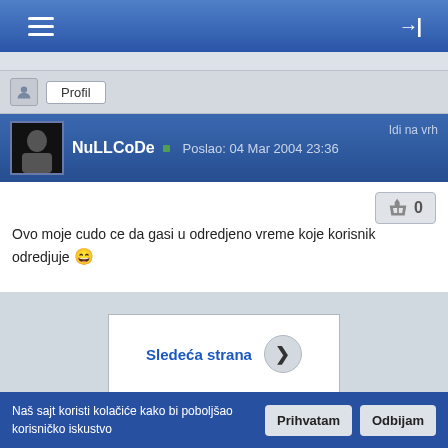Navigation bar with hamburger menu and login icon
Profil
NuLLCoDe · Poslao: 04 Mar 2004 23:36 · Idi na vrh
Ovo moje cudo ce da gasi u odredjeno vreme koje korisnik odredjuje 😊
Profil
Sledeća strana
Naš sajt koristi kolačiće kako bi poboljšao korisničko iskustvo